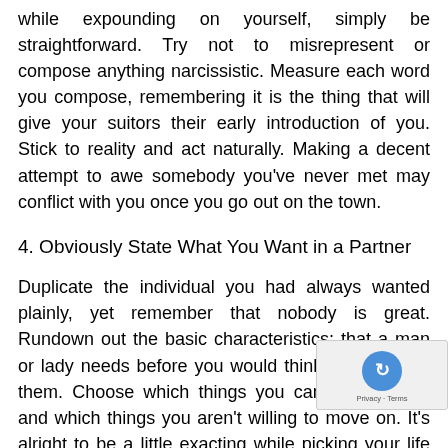while expounding on yourself, simply be straightforward. Try not to misrepresent or compose anything narcissistic. Measure each word you compose, remembering it is the thing that will give your suitors their early introduction of you. Stick to reality and act naturally. Making a decent attempt to awe somebody you've never met may conflict with you once you go out on the town.
4. Obviously State What You Want in a Partner
Duplicate the individual you had always wanted plainly, yet remember that nobody is great. Rundown out the basic characteristics; that a man or lady needs before you would think about dating them. Choose which things you can live without, and which things you aren't willing to move on. It's alright to be a little exacting while picking your life accomplice. In any case, in the meantime, you may experience serious difficulties discovering somebody that fits each and every little piece of criteria you've thought up since youth. There such a significant number of various sorts of individuals on